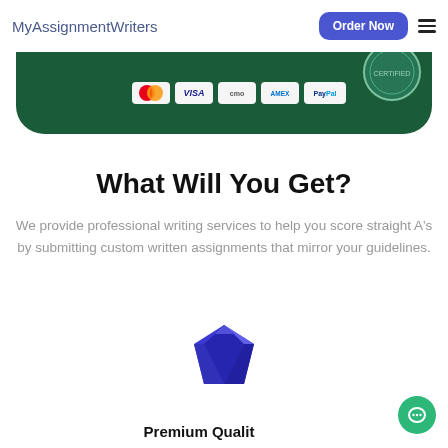MyAssignmentWriters
[Figure (infographic): Dark green banner showing payment method icons: MasterCard, VISA, Cmo, AMEX, PayPal, and a circular badge/seal on the right]
What Will You Get?
We provide professional writing services to help you score straight A's by submitting custom written assignments that mirror your guidelines.
[Figure (illustration): Blue diamond/gem icon]
Premium Quality